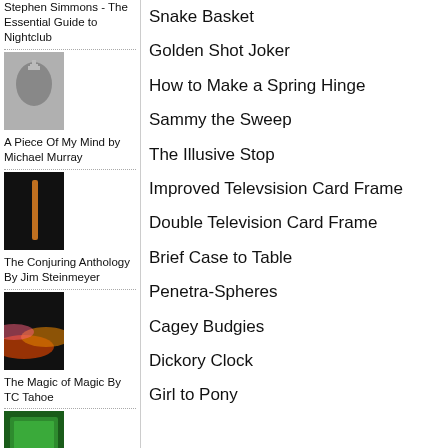Stephen Simmons - The Essential Guide to Nightclub
[Figure (photo): Book cover thumbnail - gray silhouette head with plus sign]
A Piece Of My Mind by Michael Murray
[Figure (photo): Book cover thumbnail - dark cover with vertical orange element]
The Conjuring Anthology By Jim Steinmeyer
[Figure (photo): Book cover thumbnail - colorful abstract with orange/pink streaks on dark background]
The Magic of Magic By TC Tahoe
[Figure (photo): Book cover thumbnail - green box set]
Definitive Sankey (2 Book and 1...
Snake Basket
Golden Shot Joker
How to Make a Spring Hinge
Sammy the Sweep
The Illusive Stop
Improved Televsision Card Frame
Double Television Card Frame
Brief Case to Table
Penetra-Spheres
Cagey Budgies
Dickory Clock
Girl to Pony